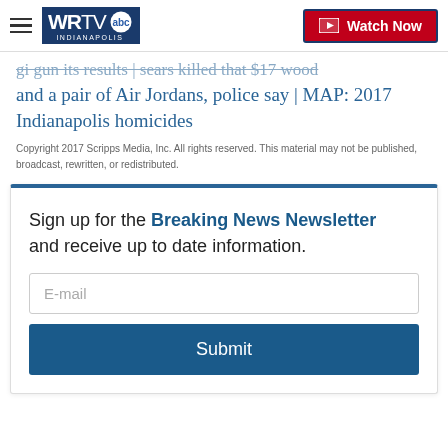WRTV Indianapolis | Watch Now
and a pair of Air Jordans, police say | MAP: 2017 Indianapolis homicides
Copyright 2017 Scripps Media, Inc. All rights reserved. This material may not be published, broadcast, rewritten, or redistributed.
Sign up for the Breaking News Newsletter and receive up to date information.